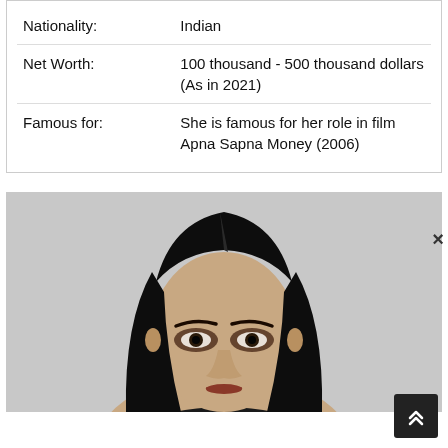| Nationality: | Indian |
| Net Worth: | 100 thousand - 500 thousand dollars (As in 2021) |
| Famous for: | She is famous for her role in film Apna Sapna Money (2006) |
[Figure (photo): Portrait photo of a woman with long straight black hair, heavy eye makeup, looking directly at camera against a light grey background.]